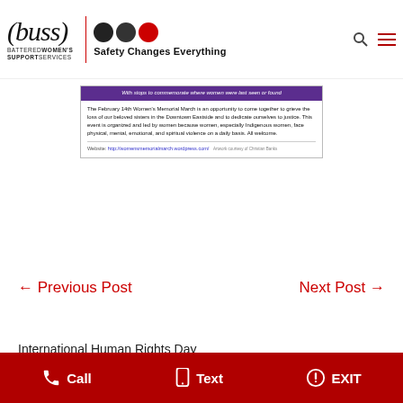BUSS – Battered Women's Support Services | Safety Changes Everything
[Figure (photo): Flyer for the February 14th Women's Memorial March with purple header bar reading 'With stops to commemorate where women were last seen or found', body text about the event, and website link http://womensmemorialmarch.wordpress.com/]
← Previous Post
Next Post →
International Human Rights Day
Call  Text  EXIT